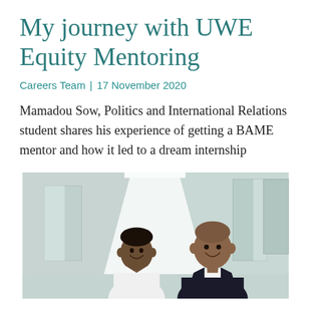My journey with UWE Equity Mentoring
Careers Team | 17 November 2020
Mamadou Sow, Politics and International Relations student shares his experience of getting a BAME mentor and how it led to a dream internship
[Figure (photo): Two men smiling in a white corridor. The man on the left is younger, wearing a white shirt. The man on the right is older, wearing a dark suit jacket over a white shirt.]